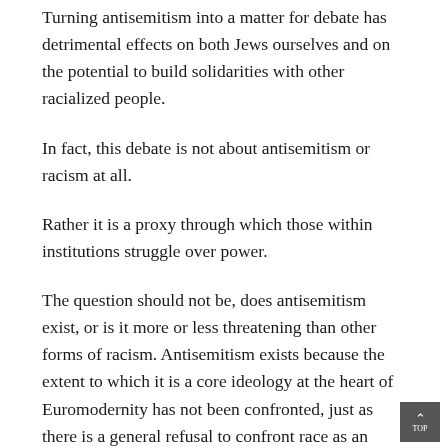Turning antisemitism into a matter for debate has detrimental effects on both Jews ourselves and on the potential to build solidarities with other racialized people.
In fact, this debate is not about antisemitism or racism at all.
Rather it is a proxy through which those within institutions struggle over power.
The question should not be, does antisemitism exist, or is it more or less threatening than other forms of racism. Antisemitism exists because the extent to which it is a core ideology at the heart of Euromodernity has not been confronted, just as there is a general refusal to confront race as an ongoing political force.
The very posing of such questions, from either side of